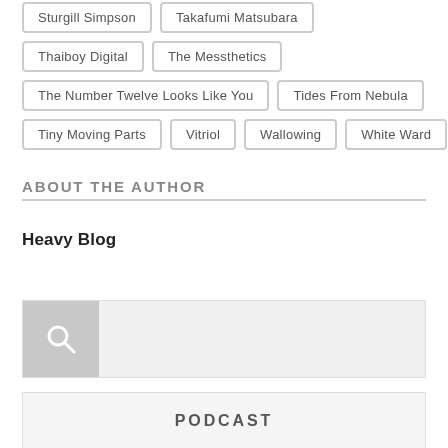Sturgill Simpson
Takafumi Matsubara
Thaiboy Digital
The Messthetics
The Number Twelve Looks Like You
Tides From Nebula
Tiny Moving Parts
Vitriol
Wallowing
White Ward
ABOUT THE AUTHOR
Heavy Blog
[Figure (other): Search bar with magnifying glass icon on grey background]
PODCAST